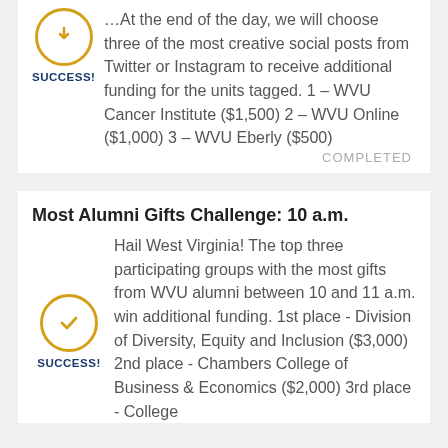At the end of the day, we will choose three of the most creative social posts from Twitter or Instagram to receive additional funding for the units tagged. 1 – WVU Cancer Institute ($1,500) 2 – WVU Online ($1,000) 3 – WVU Eberly ($500)
COMPLETED
Most Alumni Gifts Challenge: 10 a.m.
Hail West Virginia! The top three participating groups with the most gifts from WVU alumni between 10 and 11 a.m. win additional funding. 1st place - Division of Diversity, Equity and Inclusion ($3,000) 2nd place - Chambers College of Business & Economics ($2,000) 3rd place - College